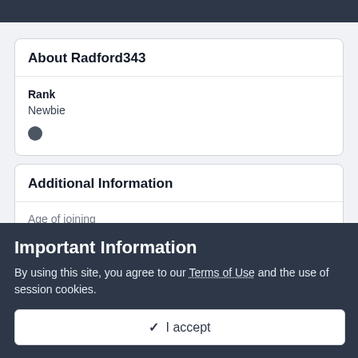About Radford343
Rank
Newbie
Additional Information
Important Information
By using this site, you agree to our Terms of Use and the use of session cookies.
✓ I accept